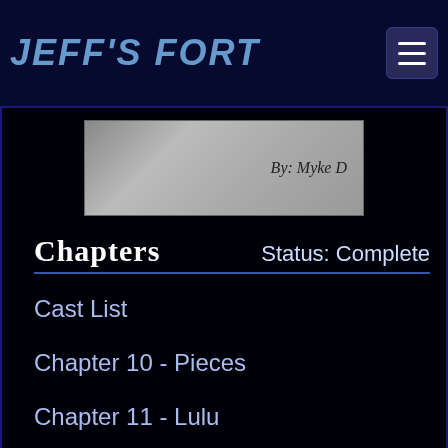JEFF'S FORT
[Figure (illustration): Banner image with moon/space texture background and text 'By: Myke D']
Chapters    Status: Complete
Cast List
Chapter 10 - Pieces
Chapter 11 - Lulu
Chapter 12 - Without Hope
Chapter 13 - Bad News